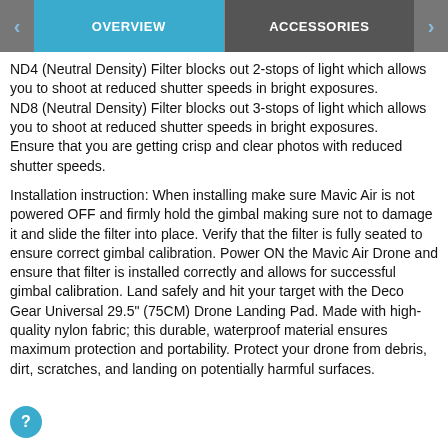OVERVIEW | ACCESSORIES
ND4 (Neutral Density) Filter blocks out 2-stops of light which allows you to shoot at reduced shutter speeds in bright exposures.
ND8 (Neutral Density) Filter blocks out 3-stops of light which allows you to shoot at reduced shutter speeds in bright exposures.
Ensure that you are getting crisp and clear photos with reduced shutter speeds.
Installation instruction: When installing make sure Mavic Air is not powered OFF and firmly hold the gimbal making sure not to damage it and slide the filter into place. Verify that the filter is fully seated to ensure correct gimbal calibration. Power ON the Mavic Air Drone and ensure that filter is installed correctly and allows for successful gimbal calibration. Land safely and hit your target with the Deco Gear Universal 29.5" (75CM) Drone Landing Pad. Made with high-quality nylon fabric; this durable, waterproof material ensures maximum protection and portability. Protect your drone from debris, dirt, scratches, and landing on potentially harmful surfaces.